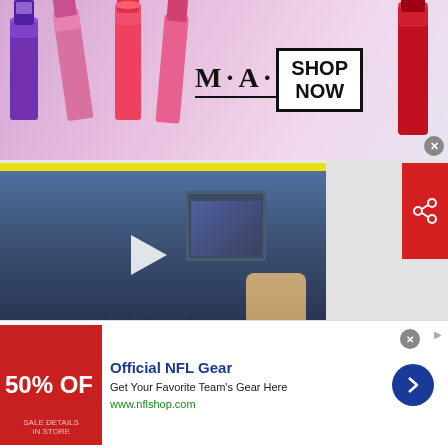[Figure (photo): MAC cosmetics advertisement banner with lipsticks on left, MAC logo in center, SHOP NOW button in a box on right, and red lipstick on far right]
[Figure (screenshot): Video thumbnail showing Trevor Sinclair believes former players should help, with play button overlay, talkSPORT YouTube source, 4 minutes ago, 1 comment]
[Figure (photo): Second video thumbnail partially visible, blurred dark purple/blue image]
[Figure (screenshot): Official NFL Gear advertisement: Get Your Favorite Team's Gear Here, www.nflshop.com, 50% OFF banner]